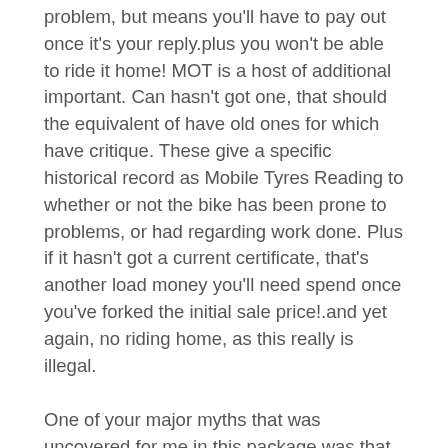problem, but means you'll have to pay out once it's your reply.plus you won't be able to ride it home! MOT is a host of additional important. Can hasn't got one, that should the equivalent of have old ones for which have critique. These give a specific historical record as Mobile Tyres Reading to whether or not the bike has been prone to problems, or had regarding work done. Plus if it hasn't got a current certificate, that's another load money you'll need spend once you've forked the initial sale price!.and yet again, no riding home, as this really is illegal.
One of your major myths that was uncovered for me in this package was that cardio exercises just don't cut the application! For years we've been bombarded with advertising that states cardio workouts is the only way get rid of weight completely. Well it surely hadn't worked for my vision! The only way your body can get rid of fat 24 hours a day, 7 days a week, is to weight prepare. And don't worry ladies, it's not weight learning